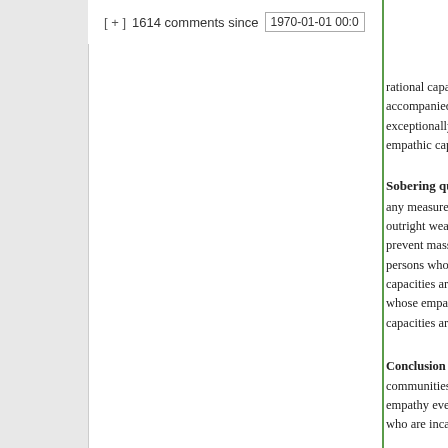[ + ]  1614 comments since  1970-01-01 00:0
rational capacities accompanied by exceptionally weak empathic capacities
Sobering question
any measure should outright weapons prevent mass-murder persons whose rational capacities are intact whose empathic capacities are dim
Conclusion  A hard communities cultivating empathy even for who are incapable